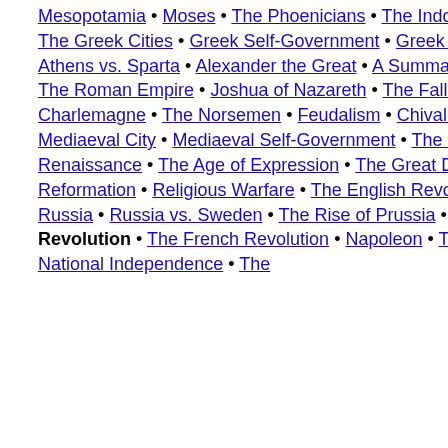Mesopotamia • Moses • The Phoenicians • The Indo-Europeans • The Aegean Sea • The Greeks • The Greek Cities • Greek Self-Government • Greek Life • The Greek Theatre • The Persian Wars • Athens vs. Sparta • Alexander the Great • A Summary • Rome and Carthage • The Rise of Rome • The Roman Empire • Joshua of Nazareth • The Fall of Rome • Rise of the Church • Mohammed • Charlemagne • The Norsemen • Feudalism • Chivalry • Pope vs. Emperor • The Crusades • The Mediaeval City • Mediaeval Self-Government • The Mediaeval World • Mediaeval Trade • The Renaissance • The Age of Expression • The Great Discoveries • Buddha and Confucius • The Reformation • Religious Warfare • The English Revolution • The Balance of Power • The Rise of Russia • Russia vs. Sweden • The Rise of Prussia • The Mercantile System • The American Revolution • The French Revolution • Napoleon • The Holy Alliance • The Great Reaction • National Independence • The